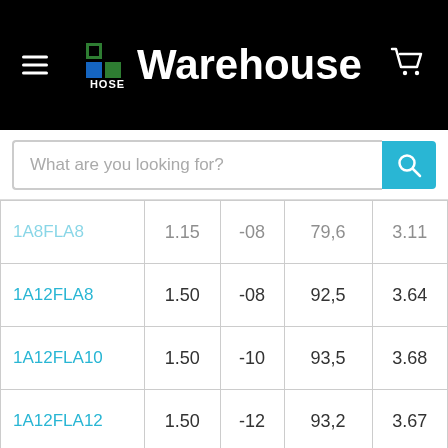[Figure (logo): Hose Warehouse logo with colored squares on black header bar]
[Figure (screenshot): Search bar with placeholder text 'What are you looking for?' and cyan search button]
| 1A8FLA8 | 1.15 | -08 | 79,6 | 3.11 |
| 1A12FLA8 | 1.50 | -08 | 92,5 | 3.64 |
| 1A12FLA10 | 1.50 | -10 | 93,5 | 3.68 |
| 1A12FLA12 | 1.50 | -12 | 93,2 | 3.67 |
| 1A16FLA12 | 1.75 | -12 | 105,7 | 4.16 |
| 1A12FLA16 | 1.50 | -16 | 99,8 | 3.93 |
| 1A16FLA16 | 1.75 | -16 | 110,5 | 4.35 |